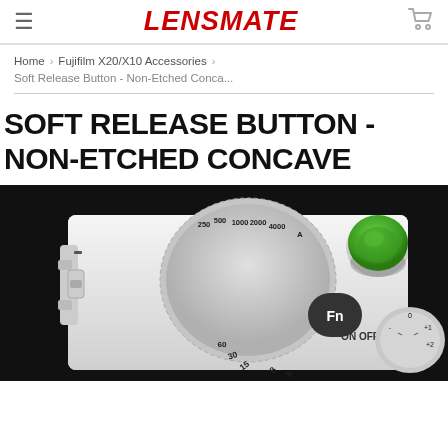LENSMATE
Home > Fujifilm X20/X10 Accessories >
Soft Release Button - Non-Etched Conca...
SOFT RELEASE BUTTON - NON-ETCHED CONCAVE
[Figure (photo): Close-up top view of a silver Fujifilm camera with a green concave soft release button installed on the shutter button, showing the shutter speed dial with values 4, 8, 15, 30, 60, 125 (partially visible), 250, 500, 1000, 2000, 4000 and A, the ON/OFF switch, Fn button, and exposure compensation dial.]